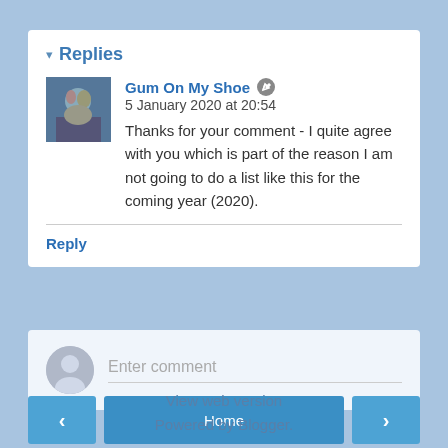▾ Replies
Gum On My Shoe 🖉 5 January 2020 at 20:54
Thanks for your comment - I quite agree with you which is part of the reason I am not going to do a list like this for the coming year (2020).
Reply
Enter comment
Home
View web version
Powered by Blogger.